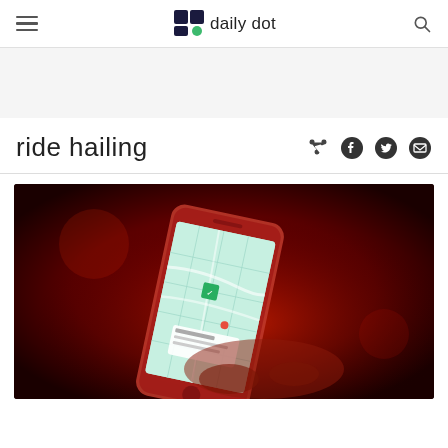daily dot
ride hailing
[Figure (photo): Hand holding a smartphone displaying a ride-hailing app map interface, illuminated in red light against a dark background.]